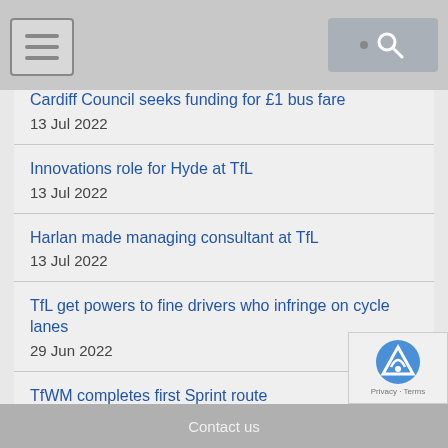Cardiff Council seeks funding for £1 bus fare
13 Jul 2022
Innovations role for Hyde at TfL
13 Jul 2022
Harlan made managing consultant at TfL
13 Jul 2022
TfL get powers to fine drivers who infringe on cycle lanes
29 Jun 2022
TfWM completes first Sprint route
29 Jun 2022
DfT road freight survey to guide new appraisal inputs
Contact us